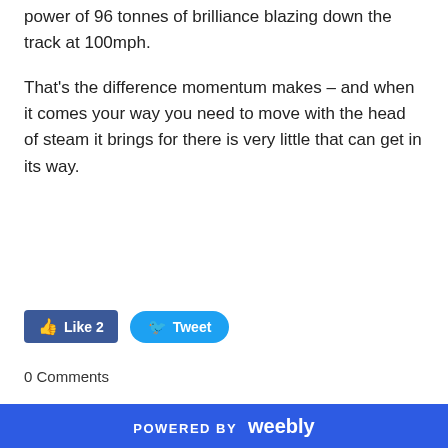power of 96 tonnes of brilliance blazing down the track at 100mph.
That’s the difference momentum makes – and when it comes your way you need to move with the head of steam it brings for there is very little that can get in its way.
[Figure (other): Social sharing buttons: Facebook Like (2) and Twitter Tweet]
0 Comments
Leave a Reply
POWERED BY weebly